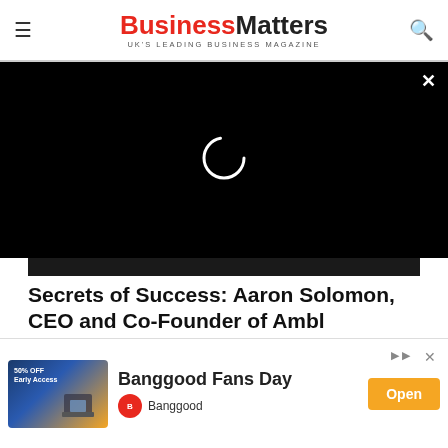BusinessMatters — UK'S LEADING BUSINESS MAGAZINE
[Figure (screenshot): Black video player overlay with loading spinner circle and close (×) button in top-right corner]
[Figure (photo): Partial photo of a person in a black t-shirt (article image, mostly behind video overlay)]
Secrets of Success: Aaron Solomon, CEO and Co-Founder of Ambl
Ambl has been created to combat the current loss in revenue and footfall within the hospitality sector. Find out
[Figure (other): Advertisement banner: Banggood Fans Day with 50% OFF Early Access label, orange Open button, Banggood logo and brand name]